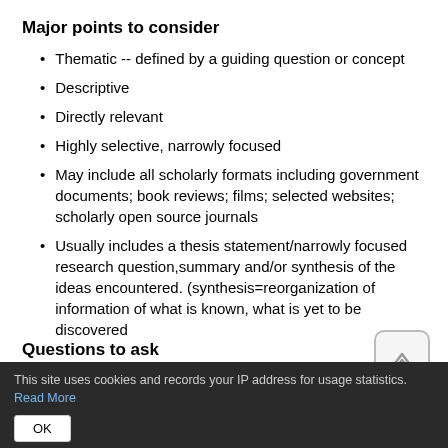Major points to consider
Thematic -- defined by a guiding question or concept
Descriptive
Directly relevant
Highly selective, narrowly focused
May include all scholarly formats including government documents; book reviews; films; selected websites; scholarly open source journals
Usually includes a thesis statement/narrowly focused research question,summary and/or synthesis of the ideas encountered. (synthesis=reorganization of information of what is known, what is yet to be discovered
Questions to ask
This site uses cookies and records your IP address for usage statistics. Read More
OK